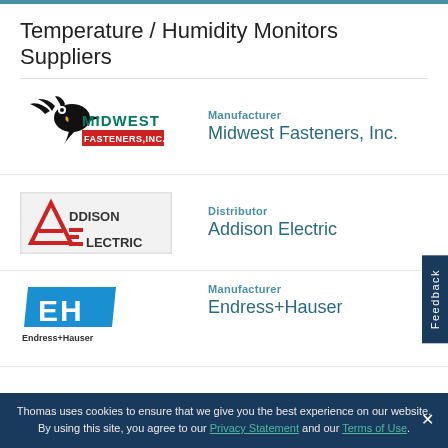Temperature / Humidity Monitors Suppliers
Manufacturer — Midwest Fasteners, Inc.
Distributor — Addison Electric
Manufacturer — Endress+Hauser
Service Company — Albertus Energy, Inc.
Thomas uses cookies to ensure that we give you the best experience on our website. By using this site, you agree to our Privacy Statement and our Terms of Use.